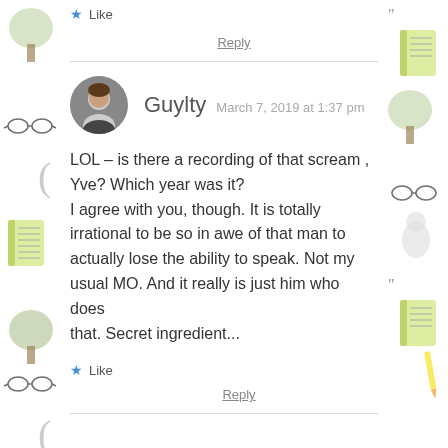★ Like
Reply
Guylty  March 7, 2019 at 1:37 pm
LOL – is there a recording of that scream , Yve? Which year was it?
I agree with you, though. It is totally irrational to be so in awe of that man to actually lose the ability to speak. Not my usual MO. And it really is just him who does that. Secret ingredient...
★ Like
Reply